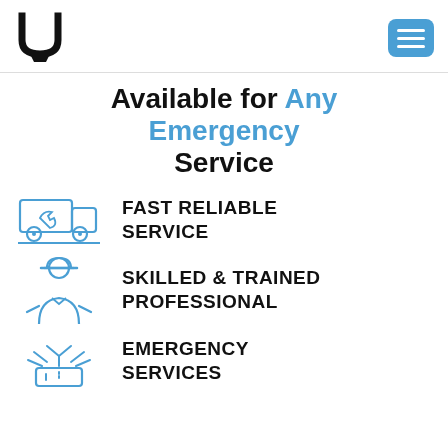[Figure (logo): Black U-shaped logo mark]
[Figure (other): Blue rounded square menu/hamburger button with three white horizontal lines]
Available for Any Emergency Service
FAST RELIABLE SERVICE
SKILLED & TRAINED PROFESSIONAL
EMERGENCY SERVICES